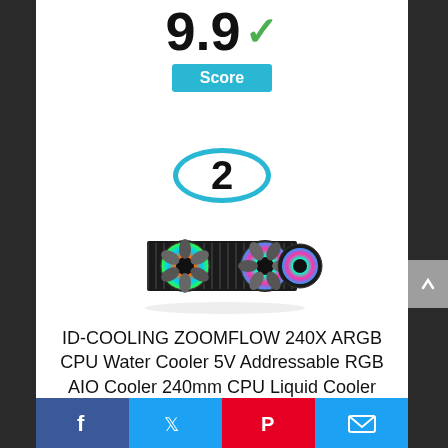9.9 ✓
Score
2
[Figure (photo): ID-COOLING ZOOMFLOW 240X ARGB CPU Water Cooler product photo showing two 120mm RGB fans mounted on a radiator]
ID-COOLING ZOOMFLOW 240X ARGB CPU Water Cooler 5V Addressable RGB AIO Cooler 240mm CPU Liquid Cooler 2X120mm RGB
Facebook share | Twitter share | Pinterest share | Email share